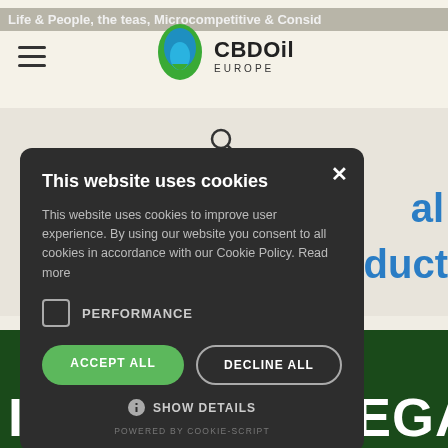CBDOil EUROPE
[Figure (screenshot): Website header with CBDOil Europe logo, hamburger menu icon, and background article title text]
[Figure (screenshot): Search icon on light beige background]
[Figure (screenshot): Blue article heading text partially visible behind cookie modal: 'al' and 'product']
[Figure (screenshot): Cookie consent modal dialog on dark background. Contains title 'This website uses cookies', body text, PERFORMANCE checkbox, ACCEPT ALL and DECLINE ALL buttons, SHOW DETAILS option, and POWERED BY COOKIE-SCRIPT footer.]
This website uses cookies
This website uses cookies to improve user experience. By using our website you consent to all cookies in accordance with our Cookie Policy. Read more
PERFORMANCE
ACCEPT ALL
DECLINE ALL
SHOW DETAILS
POWERED BY COOKIE-SCRIPT
[Figure (photo): Dark green background with large white bold text 'IS CBD OIL LEGAL' partially visible at bottom]